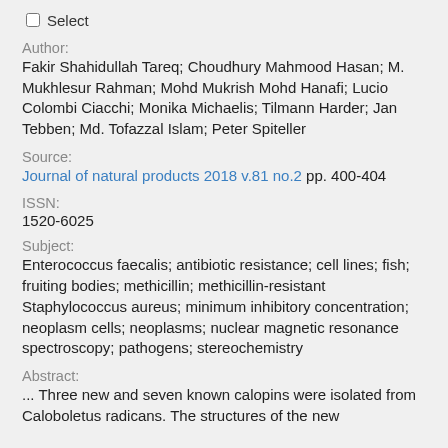Select
Author:
Fakir Shahidullah Tareq; Choudhury Mahmood Hasan; M. Mukhlesur Rahman; Mohd Mukrish Mohd Hanafi; Lucio Colombi Ciacchi; Monika Michaelis; Tilmann Harder; Jan Tebben; Md. Tofazzal Islam; Peter Spiteller
Source:
Journal of natural products 2018 v.81 no.2 pp. 400-404
ISSN:
1520-6025
Subject:
Enterococcus faecalis; antibiotic resistance; cell lines; fish; fruiting bodies; methicillin; methicillin-resistant Staphylococcus aureus; minimum inhibitory concentration; neoplasm cells; neoplasms; nuclear magnetic resonance spectroscopy; pathogens; stereochemistry
Abstract:
... Three new and seven known calopins were isolated from Caloboletus radicans. The structures of the new